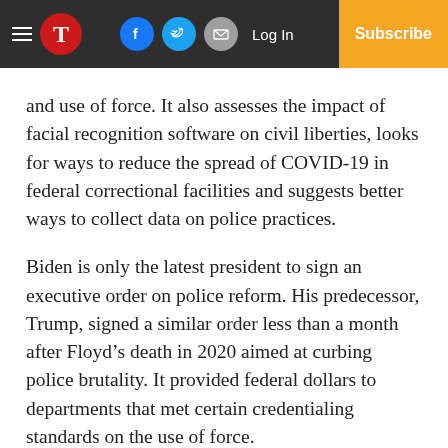T | Log In | Subscribe
and use of force. It also assesses the impact of facial recognition software on civil liberties, looks for ways to reduce the spread of COVID-19 in federal correctional facilities and suggests better ways to collect data on police practices.
Biden is only the latest president to sign an executive order on police reform. His predecessor, Trump, signed a similar order less than a month after Floyd’s death in 2020 aimed at curbing police brutality. It provided federal dollars to departments that met certain credentialing standards on the use of force.